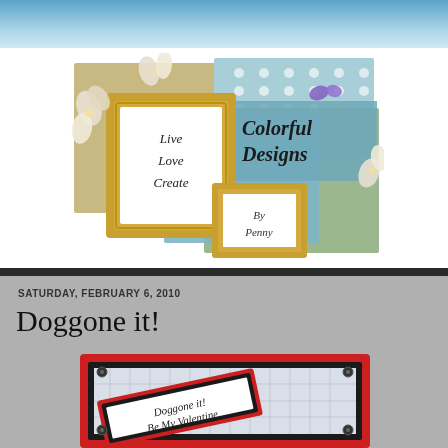[Figure (illustration): Blog header banner with sky background and scrapbook-style logo showing 'Colorful Designs by Penny' with decorative frames, flowers, and the text 'Live Love Create']
SATURDAY, FEBRUARY 6, 2010
Doggone it!
[Figure (photo): A handmade Valentine's card with red and black layered design, labeled 'Doggone it! Be My Valentine']